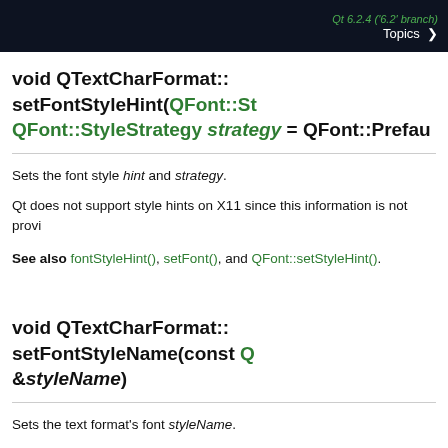Qt 6.2.4 ('6.2' branch)  Topics >
void QTextCharFormat::setFontStyleHint(QFont::StyleHint hint, QFont::StyleStrategy strategy = QFont::PreferDefault)
Sets the font style hint and strategy.
Qt does not support style hints on X11 since this information is not provi...
See also fontStyleHint(), setFont(), and QFont::setStyleHint().
void QTextCharFormat::setFontStyleName(const QString &styleName)
Sets the text format's font styleName.
This function was introduced in Qt 5.13.
See also fontStyleName(), setFont(), and QFont::setStyleName().